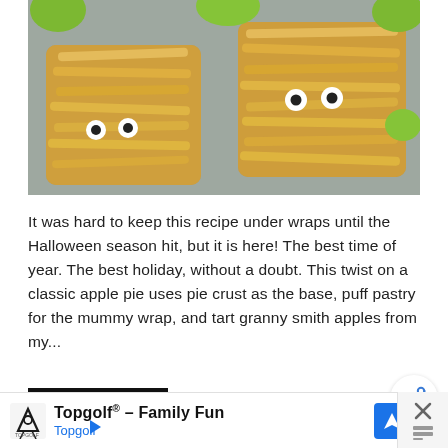[Figure (photo): Photo of Halloween mummy apple pies made with puff pastry strips and candy eyes, with green apples in the background on a grey surface.]
It was hard to keep this recipe under wraps until the Halloween season hit, but it is here! The best time of year. The best holiday, without a doubt. This twist on a classic apple pie uses pie crust as the base, puff pastry for the mummy wrap, and tart granny smith apples from my...
READ MORE
[Figure (other): Share icon button (circular white button with share symbol)]
[Figure (other): Advertisement banner: Topgolf® - Family Fun | Topgolf, with navigation arrow icon and close button]